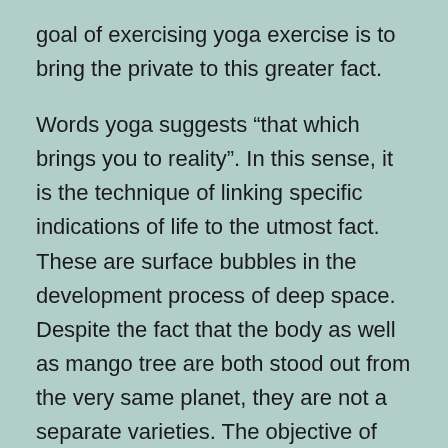goal of exercising yoga exercise is to bring the private to this greater fact.
Words yoga suggests “that which brings you to reality”. In this sense, it is the technique of linking specific indications of life to the utmost fact. These are surface bubbles in the development process of deep space. Despite the fact that the body as well as mango tree are both stood out from the very same planet, they are not a separate varieties. The objective of yoga exercise is to bring all of these various manifestations with each other. In other words, it is the course to experiential truth.